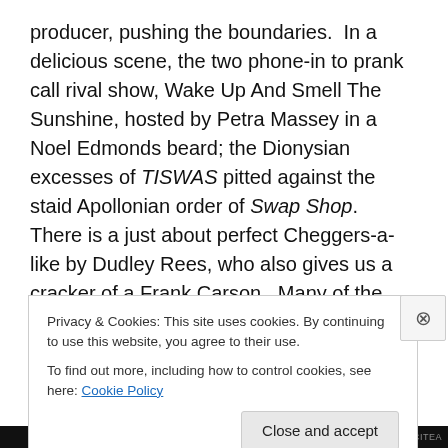producer, pushing the boundaries.  In a delicious scene, the two phone-in to prank call rival show, Wake Up And Smell The Sunshine, hosted by Petra Massey in a Noel Edmonds beard; the Dionysian excesses of TISWAS pitted against the staid Apollonian order of Swap Shop.  There is a just about perfect Cheggers-a-like by Dudley Rees, who also gives us a cracker of a Frank Carson.  Many of the nods and nudges will be lost on those in the audience with the misfortune of being born too late to have seen these programmes but nevertheless the skits are still extremely funny.
Privacy & Cookies: This site uses cookies. By continuing to use this website, you agree to their use.
To find out more, including how to control cookies, see here: Cookie Policy